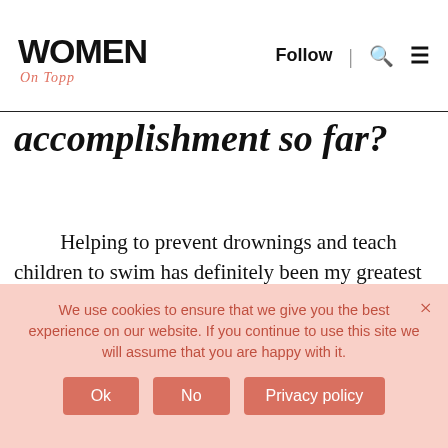[Figure (logo): Women On Topp logo — WOMEN in bold black uppercase, 'On Topp' in italic salmon/coral serif below]
Follow | [search icon] [menu icon]
accomplishment so far?
Helping to prevent drownings and teach children to swim has definitely been my greatest accomplishment. When I hear stories from my clients about their children saving themselves, I know that I have chosen the right path in life.
Subscribe & Become Successful
receive our newsletters and updates by email
We use cookies to ensure that we give you the best experience on our website. If you continue to use this site we will assume that you are happy with it.
Ok   No   Privacy policy